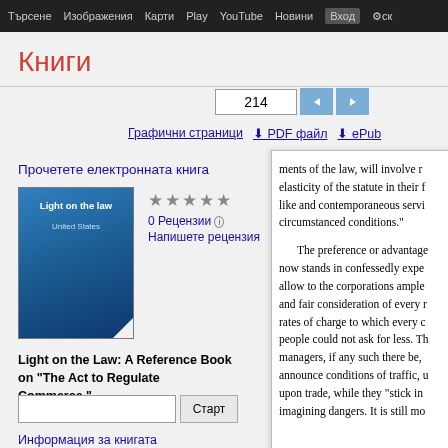Търсене   Изображения   Карти   Play   YouTube   Новини   Вход   ⚙ск
Книги
214
Графични страници   ⬇ PDF файл   ⬇ ePub
Прочетете електронната книга
[Figure (illustration): Book cover for 'Light on the Law, United States' - blue book cover]
★★★★★
0 Рецензии ℹ
Напишете рецензия
Light on the Law: A Reference Book on "The Act to Regulate Commerce."
Старт
Информация за книгата
Условия за ползване
ments of the law, will involve r elasticity of the statute in their like and contemporaneous servi circumstanced conditions."

    The preference or advantage now stands in confessedly expe allow to the corporations ample and fair consideration of every rates of charge to which every people could not ask for less. T managers, if any such there be, announce conditions of traffic, upon trade, while they "stick in imagining dangers. It is still mo